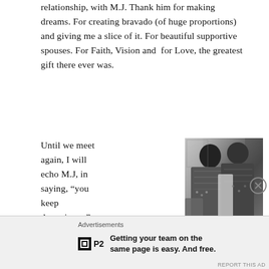relationship, with M.J. Thank him for making dreams. For creating bravado (of huge proportions) and giving me a slice of it. For beautiful supportive spouses. For Faith, Vision and  for Love, the greatest gift there ever was.
Until we meet again, I will echo M.J, in saying, “you keep dreaming…”
[Figure (photo): Black and white photo of two people in patterned/embroidered clothing, appearing to embrace or lean close together]
Advertisements
Getting your team on the same page is easy. And free.